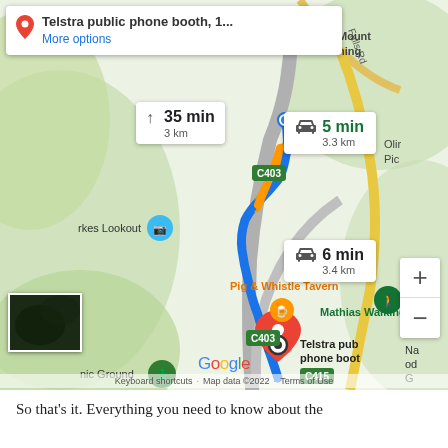[Figure (screenshot): Google Maps screenshot showing a driving route to Telstra public phone booth, with route options of 5 min / 3.3 km (by car), 6 min / 3.4 km (by car), and 35 min / 3 km (walking). Map shows areas including Mount, Falls Rd, Irkes Lookout, Pig & Whistle Tavern, Mathias Walking Track, Pic Ground, and road labels C403, C415.]
So that's it. Everything you need to know about the